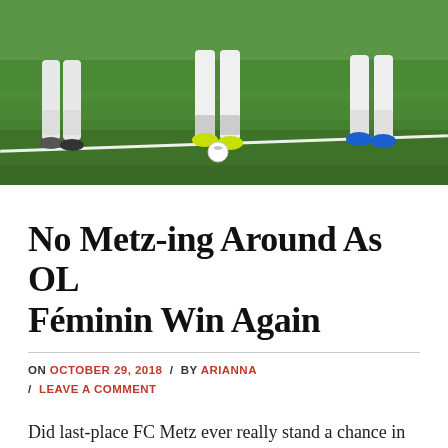[Figure (photo): Photo of soccer/football players' legs on a green grass pitch with white field line markings. Players wearing white kit with red and blue boots visible.]
No Metz-ing Around As OL Féminin Win Again
ON OCTOBER 29, 2018 / BY ARIANNA / LEAVE A COMMENT
Did last-place FC Metz ever really stand a chance in this one?  No, not really.  But Lyon have always emphasized that it's important to take every opponent